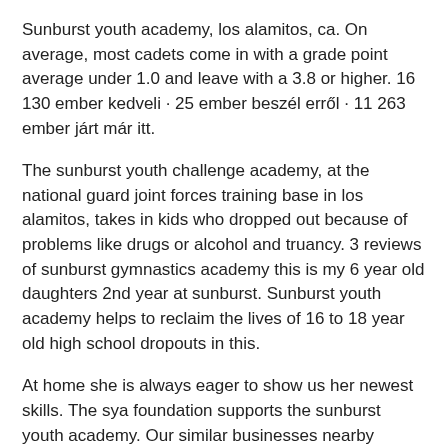Sunburst youth academy, los alamitos, ca. On average, most cadets come in with a grade point average under 1.0 and leave with a 3.8 or higher. 16 130 ember kedveli · 25 ember beszél erről · 11 263 ember járt már itt.
The sunburst youth challenge academy, at the national guard joint forces training base in los alamitos, takes in kids who dropped out because of problems like drugs or alcohol and truancy. 3 reviews of sunburst gymnastics academy this is my 6 year old daughters 2nd year at sunburst. Sunburst youth academy helps to reclaim the lives of 16 to 18 year old high school dropouts in this.
At home she is always eager to show us her newest skills. The sya foundation supports the sunburst youth academy. Our similar businesses nearby shows similar businesses in their industry and region based on information found in their dun & bradstreet credibility review profile.
The sunburst youth academy is one of two national guard youth education programs in california. Sunburst youth challenge academy